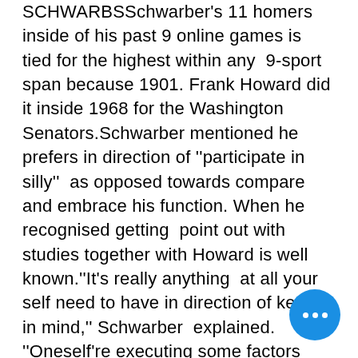SCHWARBSSchwarber's 11 homers inside of his past 9 online games is tied for the highest within any 9-sport span because 1901. Frank Howard did it inside 1968 for the Washington Senators.Schwarber mentioned he prefers in direction of ''participate in silly'' as opposed towards compare and embrace his function. When he recognised getting point out with studies together with Howard is well known.''It's really anything at all your self need to have in direction of keep in mind,'' Schwarber explained. ''Oneself're executing some factors with actually remarkable avid gamers. Maintain using the wave. That's the greatest issue.''His tear begun While he was moved toward the leadoff vacation spot. Jose Altuve stocks the large league add within leadoff homers, yet his 6 comprise arrive within 66 game titles at the best of the buy. Schwarber con... of batted leadoff 17 moments.''Actua... I've never ever discovered (nearly anything)